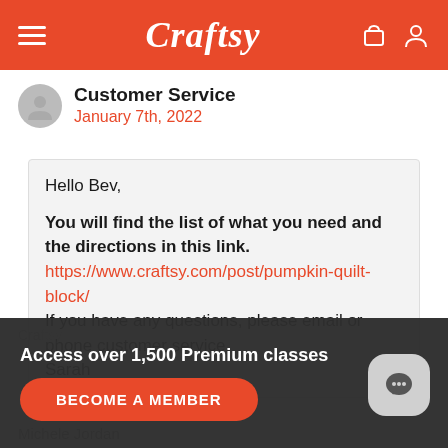Craftsy
Customer Service
January 7th, 2022
Hello Bev,

You will find the list of what you need and the directions in this link.
https://www.craftsy.com/post/pumpkin-quilt-block/
If you have any questions, please email or phone customer service.
Sarah
Access over 1,500 Premium classes
BECOME A MEMBER
Michele Jordan